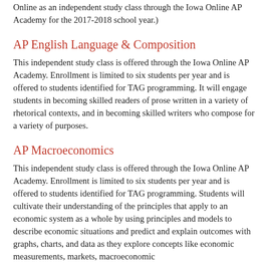Online as an independent study class through the Iowa Online AP Academy for the 2017-2018 school year.)
AP English Language & Composition
This independent study class is offered through the Iowa Online AP Academy. Enrollment is limited to six students per year and is offered to students identified for TAG programming. It will engage students in becoming skilled readers of prose written in a variety of rhetorical contexts, and in becoming skilled writers who compose for a variety of purposes.
AP Macroeconomics
This independent study class is offered through the Iowa Online AP Academy. Enrollment is limited to six students per year and is offered to students identified for TAG programming. Students will cultivate their understanding of the principles that apply to an economic system as a whole by using principles and models to describe economic situations and predict and explain outcomes with graphs, charts, and data as they explore concepts like economic measurements, markets, macroeconomic